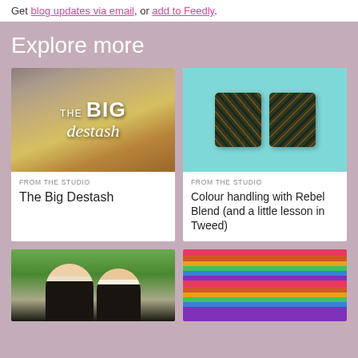Get blog updates via email, or add to Feedly.
Explore more
[Figure (photo): Colorful yarn balls with text overlay reading THE BIG destash]
FROM THE STUDIO
The Big Destash
[Figure (photo): Two dark tweed knitting swatches on a teal/cyan background]
FROM THE STUDIO
Colour handling with Rebel Blend (and a little lesson in Tweed)
[Figure (photo): Two women posing outdoors near water]
[Figure (photo): Colorful striped knitted socks or leg warmers]